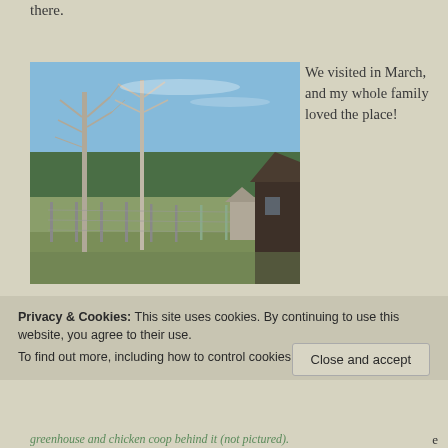there.
[Figure (photo): Outdoor farm scene in March showing bare birch/aspen trees, a large fenced garden area, a small shed or outhouse structure, and a dark wooden barn/building on the right. Dense evergreen forest visible in background under a clear blue sky.]
We visited in March, and my whole family loved the place!
Privacy & Cookies: This site uses cookies. By continuing to use this website, you agree to their use.
To find out more, including how to control cookies, see here: Cookie Policy
Close and accept
greenhouse and chicken coop behind it (not pictured).
e